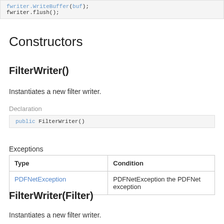fwriter.WriteBuffer(buf);
fwriter.flush();
Constructors
FilterWriter()
Instantiates a new filter writer.
Declaration
public FilterWriter()
Exceptions
| Type | Condition |
| --- | --- |
| PDFNetException | PDFNetException the PDFNet exception |
FilterWriter(Filter)
Instantiates a new filter writer.